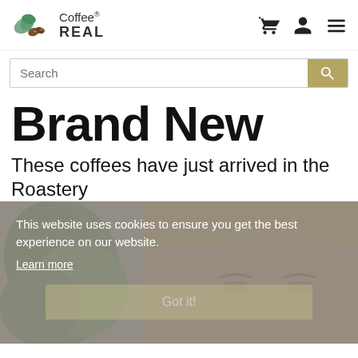Coffee REAL
Search
Brand New
These coffees have just arrived in the Roastery
[Figure (photo): Photo of man's face wearing a hat, partially obscured by cookie consent overlay, with green plant leaves visible on the left]
This website uses cookies to ensure you get the best experience on our website. Learn more Got it!